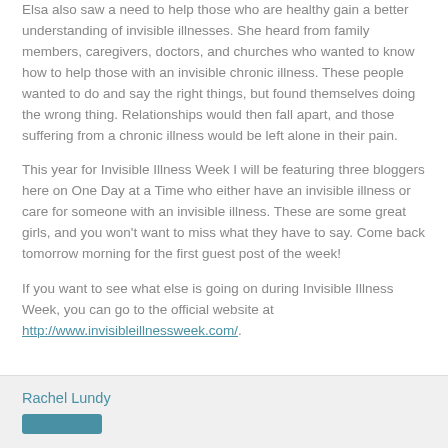Elsa also saw a need to help those who are healthy gain a better understanding of invisible illnesses. She heard from family members, caregivers, doctors, and churches who wanted to know how to help those with an invisible chronic illness. These people wanted to do and say the right things, but found themselves doing the wrong thing. Relationships would then fall apart, and those suffering from a chronic illness would be left alone in their pain.
This year for Invisible Illness Week I will be featuring three bloggers here on One Day at a Time who either have an invisible illness or care for someone with an invisible illness. These are some great girls, and you won't want to miss what they have to say. Come back tomorrow morning for the first guest post of the week!
If you want to see what else is going on during Invisible Illness Week, you can go to the official website at http://www.invisibleillnessweek.com/.
Rachel Lundy